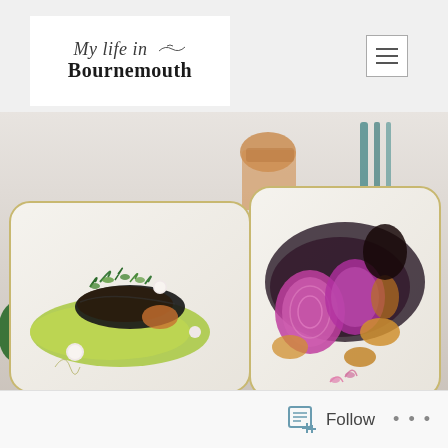My life in Bournemouth
[Figure (photo): Two rectangular white ceramic plates with gold edges on a marble surface. Left plate shows a dark-crusted fish fillet on green puree garnished with microgreens and radishes. Right plate shows purple beetroot slices with roasted vegetables in dark sauce. Background shows a glass with orange contents and teal cutlery.]
Follow